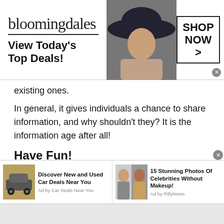[Figure (screenshot): Bloomingdales advertisement banner: logo text 'bloomingdales', tagline 'View Today's Top Deals!', woman in hat image, 'SHOP NOW >' button box]
existing ones.
In general, it gives individuals a chance to share information, and why shouldn't they? It is the information age after all!
Have Fun!
Want a platform for Hungarian Teen Chat ? There is no better choice than Talkwithstranger. Here you can get in touch with people not just from your local area, but also from other regions of the world
[Figure (screenshot): Bottom advertisement bar with two ads: 'Discover New and Used Car Deals Near You' by Car Deals Near You, and '15 Stunning Photos Of Celebrities Without Makeup!' by RillyNews]